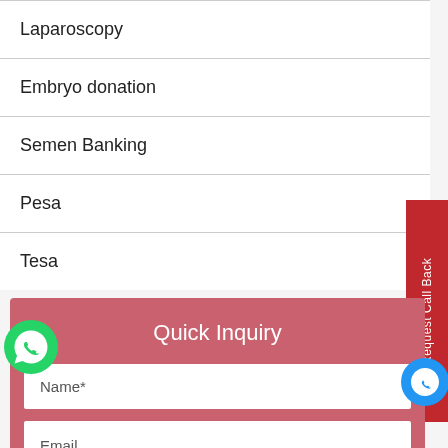Laparoscopy
Embryo donation
Semen Banking
Pesa
Tesa
Quick Inquiry
Name*
Email